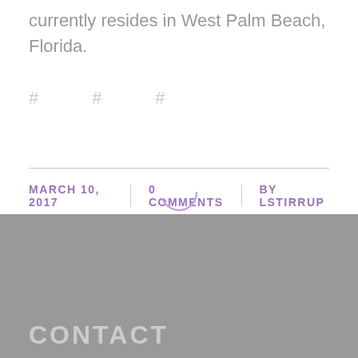currently resides in West Palm Beach, Florida.
# # #
MARCH 10, 2017 | 0 COMMENTS | BY LSTIRRUP
CONTACT